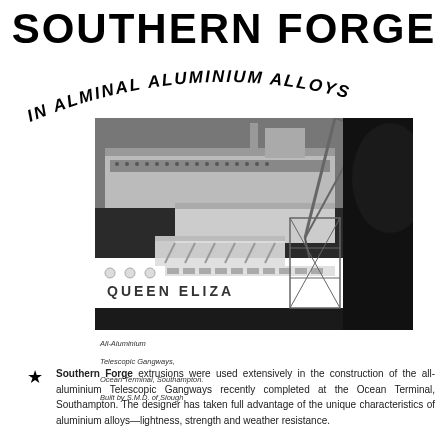SOUTHERN FORGE
IN ALMINAL ALUMINIUM ALLOYS
[Figure (photo): Black and white photograph of all-aluminium Telescopic Gangways at Ocean Terminal, Southampton, showing the Queen Elizabeth ocean liner docked alongside the terminal structure with cranes visible.]
All-Aluminium
Telescopic Gangways,
Ocean Terminal, Southampton.
Built by S.M.D. of Slough
Southern Forge extrusions were used extensively in the construction of the all-aluminium Telescopic Gangways recently completed at the Ocean Terminal, Southampton. The designer has taken full advantage of the unique characteristics of aluminium alloys—lightness, strength and weather resistance.